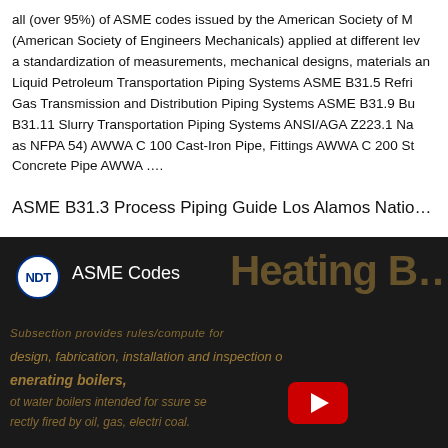all (over 95%) of ASME codes issued by the American Society of M... (American Society of Engineers Mechanicals) applied at different lev... a standardization of measurements, mechanical designs, materials an... Liquid Petroleum Transportation Piping Systems ASME B31.5 Refri... Gas Transmission and Distribution Piping Systems ASME B31.9 Bu... B31.11 Slurry Transportation Piping Systems ANSI/AGA Z223.1 Na... as NFPA 54) AWWA C 100 Cast-Iron Pipe, Fittings AWWA C 200 St... Concrete Pipe AWWA ....
ASME B31.3 Process Piping Guide Los Alamos Natio...
[Figure (screenshot): YouTube video thumbnail showing 'ASME Codes' with NDT logo badge on dark background, overlaid with italic golden text about design, fabrication, installation and inspection of generating boilers, hot water boilers, and directly fired by oil, gas, electri... coal. A red YouTube play button is visible in the lower right area. Background shows 'Heating B...' text faintly.]